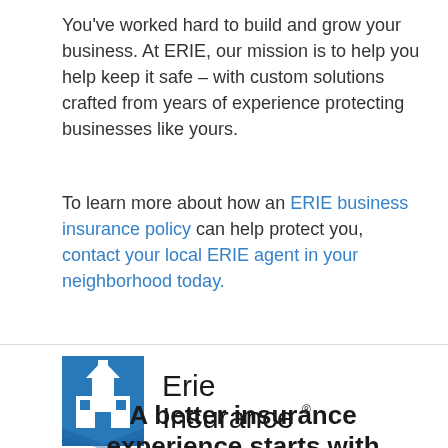You've worked hard to build and grow your business. At ERIE, our mission is to help you help keep it safe – with custom solutions crafted from years of experience protecting businesses like yours.
To learn more about how an ERIE business insurance policy can help protect you, contact your local ERIE agent in your neighborhood today.
[Figure (logo): Erie Insurance logo — blue building icon on left, 'Erie Insurance' text on right with registered trademark symbol]
A better insurance experience starts with